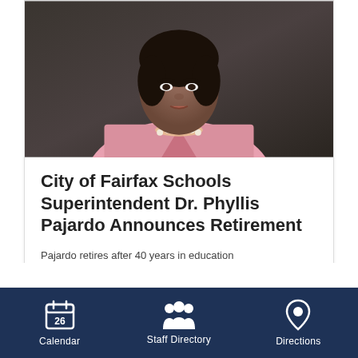[Figure (photo): Portrait photo of Dr. Phyllis Pajardo wearing a pink blazer and pearl necklace, against a dark background]
City of Fairfax Schools Superintendent Dr. Phyllis Pajardo Announces Retirement
Pajardo retires after 40 years in education
Calendar  Staff Directory  Directions